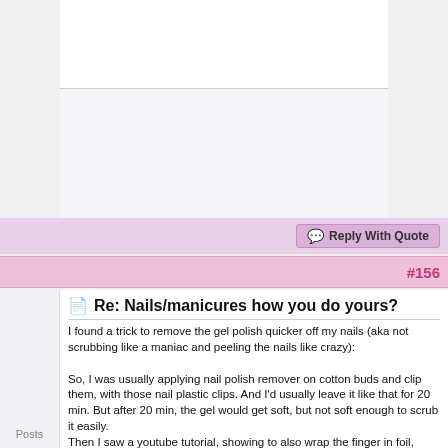#156
Re: Nails/manicures how you do yours?
I found a trick to remove the gel polish quicker off my nails (aka not scrubbing like a maniac and peeling the nails like crazy):

So, I was usually applying nail polish remover on cotton buds and clip them, with those nail plastic clips. And I'd usually leave it like that for 20 min. But after 20 min, the gel would get soft, but not soft enough to scrub it easily.
Then I saw a youtube tutorial, showing to also wrap the finger in foil, because the acetone disolves slower if it doesn't take contact with the air. Huge facepalm. I find wrapping each finger in tin foil too tedious so I found another trick: I shove my hand in a rubber glove :)) It's big enough to get my hands in with those nail clips included.
And before that, I make sure I file all the shiny coat off the nail polish, basically till my nails look matte, then add the cotton buds with acetone, clip them, shove hand in rubber glove and